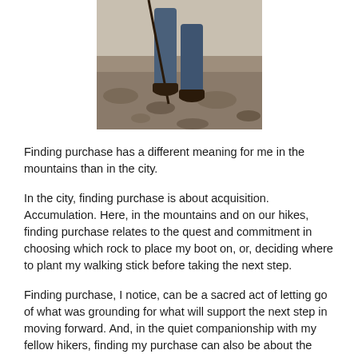[Figure (photo): Photo of a hiker's lower body, wearing jeans and hiking boots, using a walking stick on rocky terrain.]
Finding purchase has a different meaning for me in the mountains than in the city.
In the city, finding purchase is about acquisition. Accumulation. Here, in the mountains and on our hikes, finding purchase relates to the quest and commitment in choosing which rock to place my boot on, or, deciding where to plant my walking stick before taking the next step.
Finding purchase, I notice, can be a sacred act of letting go of what was grounding for what will support the next step in moving forward. And, in the quiet companionship with my fellow hikers, finding my purchase can also be about the